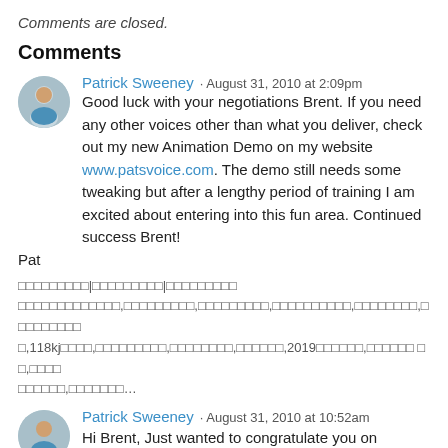Comments are closed.
Comments
Patrick Sweeney · August 31, 2010 at 2:09pm
Good luck with your negotiations Brent. If you need any other voices other than what you deliver, check out my new Animation Demo on my website www.patsvoice.com. The demo still needs some tweaking but after a lengthy period of training I am excited about entering into this fun area. Continued success Brent!

Pat
□□□□□□□□□|□□□□□□□□□|□□□□□□□□□ □□□□□□□□□□□□□,□□□□□□□□□,□□□□□□□□□,□□□□□□□□□□,□□□□□□□□,□□□□□□□□□ □,118kj□□□□,□□□□□□□□□,□□□□□□□□,□□□□□□,2019□□□□□□,□□□□□□ □□,□□□□ □□□□□□,□□□□□□□…
Patrick Sweeney · August 31, 2010 at 10:52am
Hi Brent, Just wanted to congratulate you on the Go Frog in that area at a Voice